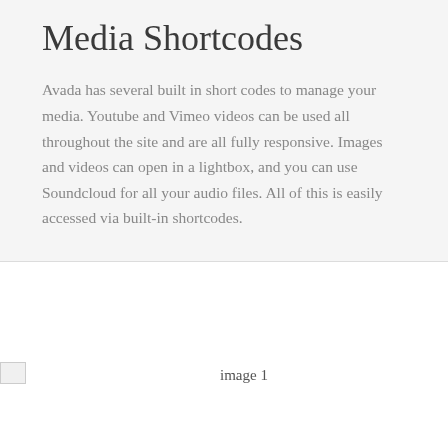Media Shortcodes
Avada has several built in short codes to manage your media. Youtube and Vimeo videos can be used all throughout the site and are all fully responsive. Images and videos can open in a lightbox, and you can use Soundcloud for all your audio files. All of this is easily accessed via built-in shortcodes.
[Figure (photo): Broken image placeholder labeled 'image 1']